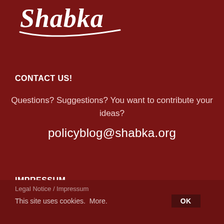[Figure (logo): Shabka logo — white cursive text 'Shabka' with a swoosh/underline curve on dark red background]
CONTACT US!
Questions? Suggestions? You want to contribute your ideas?
policyblog@shabka.org
IMPRESSUM
Legal Notice / Impressum
This site uses cookies. More.   OK